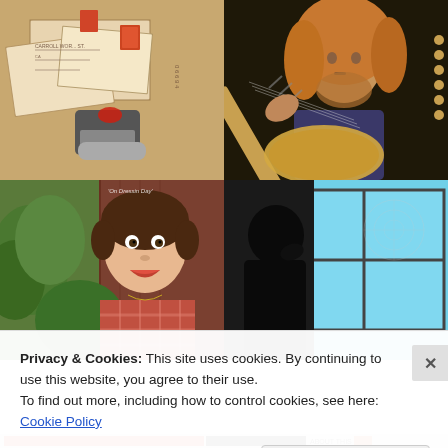[Figure (photo): Top-left: collection of vintage mail, stamps, postcards and a number stamp on a wooden surface]
[Figure (photo): Top-right: young man with long curly blonde hair playing a sitar instrument]
[Figure (photo): Bottom-left: young boy in plaid shirt in front of green plants and a wooden wall with text 'On Dressin Day']
[Figure (photo): Bottom-right: dark silhouette of a person against a bright blue window background]
Privacy & Cookies: This site uses cookies. By continuing to use this website, you agree to their use.
To find out more, including how to control cookies, see here: Cookie Policy
Close and accept